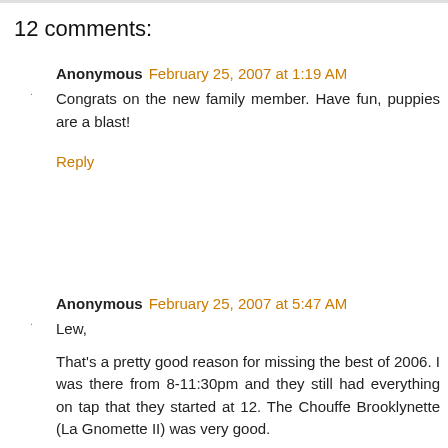12 comments:
Anonymous February 25, 2007 at 1:19 AM
Congrats on the new family member. Have fun, puppies are a blast!
Reply
Anonymous February 25, 2007 at 5:47 AM
Lew,
That's a pretty good reason for missing the best of 2006. I was there from 8-11:30pm and they still had everything on tap that they started at 12. The Chouffe Brooklynette (La Gnomette II) was very good.
Btw, your car broke down in the Wegman's parking lot or somewhere else? If you were stuck there I don't feel that bad for you... Wegman's is the most incredible grocery